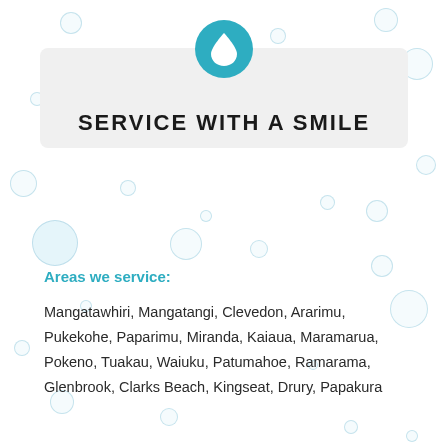[Figure (illustration): Teal circle icon with white water drop symbol at top center of page, above a light gray banner. Background has scattered light blue bubble/circle decorations throughout the page.]
SERVICE WITH A SMILE
Areas we service:
Mangatawhiri, Mangatangi, Clevedon, Ararimu, Pukekohe, Paparimu, Miranda, Kaiaua, Maramarua, Pokeno, Tuakau, Waiuku, Patumahoe, Ramarama, Glenbrook, Clarks Beach, Kingseat, Drury, Papakura